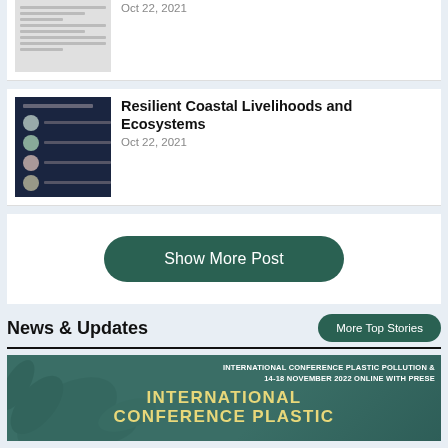[Figure (screenshot): Partial article thumbnail showing a document/report preview with text lines]
Oct 22, 2021
[Figure (screenshot): Dark-themed event/conference thumbnail with circular portrait photos and speaker names]
Resilient Coastal Livelihoods and Ecosystems
Oct 22, 2021
Show More Post
News & Updates
More Top Stories
[Figure (screenshot): International Conference Plastic Pollution banner image with teal background and yellow title text. Text: INTERNATIONAL CONFERENCE PLASTIC POLLUTION 14-18 NOVEMBER 2022 ONLINE WITH PRESE... INTERNATIONAL CONFERENCE PLASTIC...]